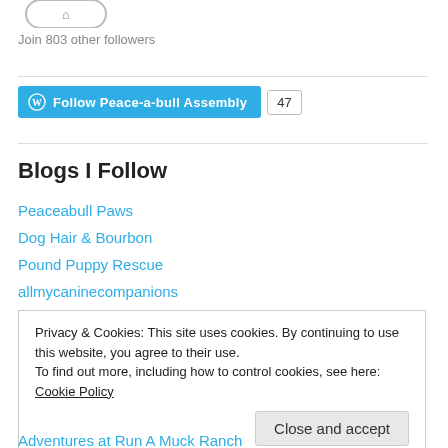[Figure (illustration): Partial WordPress-style logo/button image cropped at top of page]
Join 803 other followers
[Figure (infographic): WordPress Follow button for Peace-a-bull Assembly with count badge showing 47]
Blogs I Follow
Peaceabull Paws
Dog Hair & Bourbon
Pound Puppy Rescue
allmycaninecompanions
Privacy & Cookies: This site uses cookies. By continuing to use this website, you agree to their use.
To find out more, including how to control cookies, see here: Cookie Policy
Adventures at Run A Muck Ranch